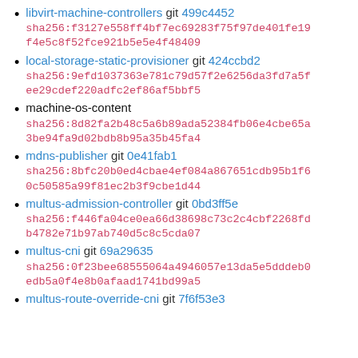libvirt-machine-controllers git 499c4452 sha256:f3127e558ff4bf7ec69283f75f97de401fe19f4e5c8f52fce921b5e5e4f48409
local-storage-static-provisioner git 424ccbd2 sha256:9efd1037363e781c79d57f2e6256da3fd7a5fee29cdef220adfc2ef86af5bbf5
machine-os-content sha256:8d82fa2b48c5a6b89ada52384fb06e4cbe65a3be94fa9d02bdb8b95a35b45fa4
mdns-publisher git 0e41fab1 sha256:8bfc20b0ed4cbae4ef084a867651cdb95b1f60c50585a99f81ec2b3f9cbe1d44
multus-admission-controller git 0bd3ff5e sha256:f446fa04ce0ea66d38698c73c2c4cbf2268fdb4782e71b97ab740d5c8c5cda07
multus-cni git 69a29635 sha256:0f23bee68555064a4946057e13da5e5dddeb0edb5a0f4e8b0afaad1741bd99a5
multus-route-override-cni git 7f6f53e3